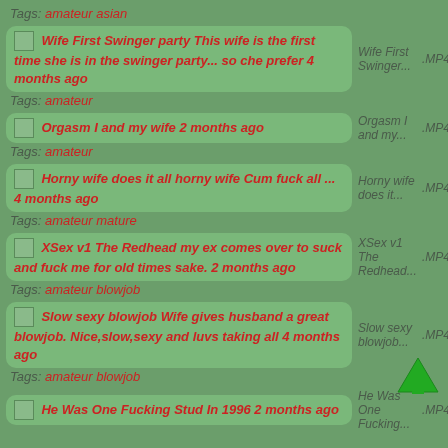Tags: amateur asian
Wife First Swinger party This wife is the first time she is in the swinger party... so che prefer 4 months ago | Wife First Swinger... | .MP4
Tags: amateur
Orgasm I and my wife 2 months ago | Orgasm I and my... | .MP4
Tags: amateur
Horny wife does it all horny wife Cum fuck all ... 4 months ago | Horny wife does it... | .MP4
Tags: amateur mature
XSex v1 The Redhead my ex comes over to suck and fuck me for old times sake. 2 months ago | XSex v1 The Redhead... | .MP4
Tags: amateur blowjob
Slow sexy blowjob Wife gives husband a great blowjob. Nice,slow,sexy and luvs taking all 4 months ago | Slow sexy blowjob... | .MP4
Tags: amateur blowjob
He Was One Fucking Stud In 1996 2 months ago | He Was One Fucking... | .MP4